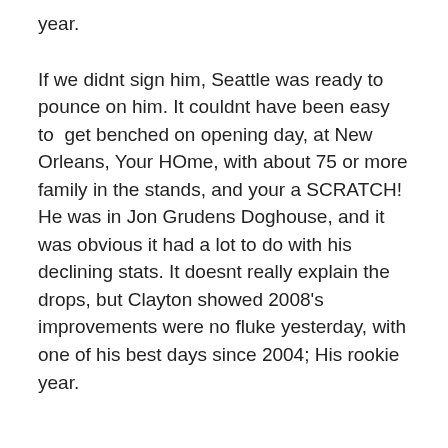year.
If we didnt sign him, Seattle was ready to pounce on him. It couldnt have been easy to  get benched on opening day, at New Orleans, Your HOme, with about 75 or more family in the stands, and your a SCRATCH! He was in Jon Grudens Doghouse, and it was obvious it had a lot to do with his declining stats. It doesnt really explain the drops, but Clayton showed 2008's improvements were no fluke yesterday, with one of his best days since 2004; His rookie year.
One of the few strengths the Bucs were given credit for, the offensive line, opened nice holes in the running game, and for the most part, gave Leftwich time to throw. Obviously you cant go an entire game keeping